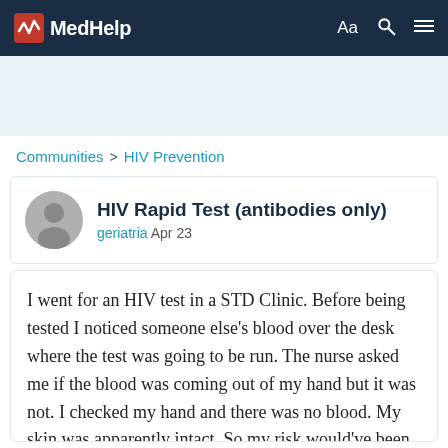MedHelp
Communities > HIV Prevention
HIV Rapid Test (antibodies only)
geriatria Apr 23
I went for an HIV test in a STD Clinic. Before being tested I noticed someone else's blood over the desk where the test was going to be run. The nurse asked me if the blood was coming out of my hand but it was not. I checked my hand and there was no blood. My skin was apparently intact. So my risk would've been someone else's infected blood in contact with my intact skin. Even though knowing my risk was nil I got tested 144 days after that episode using a HIV